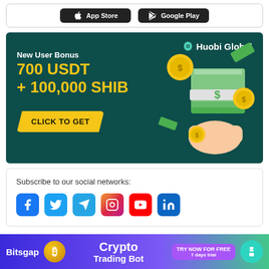[Figure (other): App Store and Google Play download buttons on a white rounded rectangle bar]
[Figure (infographic): Huobi Global advertisement banner with dark teal background. Text: 'New User Bonus 700 USDT + 100,000 SHIB' with a yellow 'CLICK TO GET' button. Right side shows illustrated 3D hand holding green cash bundles with gold coins.]
Subscribe to our social networks:
[Figure (infographic): Row of social media icons: Facebook, Twitter, Telegram, Instagram, YouTube, LinkedIn]
[Figure (infographic): Bitsgap banner at bottom: 'Bitsgap' logo, coin icon, 'Crypto Trading Bot' text, 'TRY NOW FOR FREE 7 days trial' purple button, robot icon]